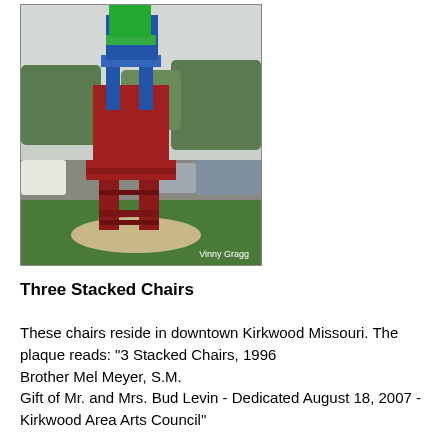[Figure (photo): A large outdoor sculpture called Three Stacked Chairs located in downtown Kirkwood, Missouri. The sculpture features oversized chairs stacked on top of each other, painted red, blue, and green, sitting on a circular concrete base surrounded by green lawn. Cars and trees are visible in the background. A watermark reads 'Vinny Gragg' in the lower right corner.]
Three Stacked Chairs
These chairs reside in downtown Kirkwood Missouri. The plaque reads: "3 Stacked Chairs, 1996
Brother Mel Meyer, S.M.
Gift of Mr. and Mrs. Bud Levin - Dedicated August 18, 2007 - Kirkwood Area Arts Council"